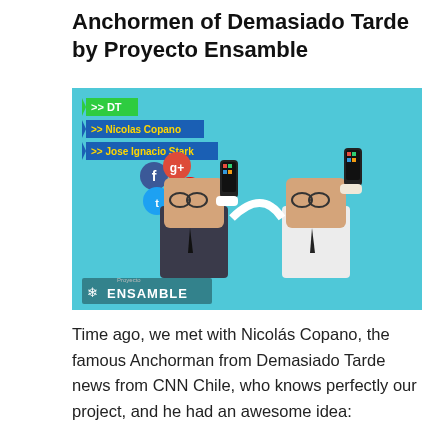Anchormen of Demasiado Tarde by Proyecto Ensamble
[Figure (photo): Photo of two paper craft / paper toy figures of anchormen on a cyan/teal background. Figures have caricature faces with glasses, suits, and are holding smartphones. Social media icons (Facebook, Google+, YouTube, Twitter) float above one figure. Labels in the image: DT, Nicolas Copano, Jose Ignacio Stark. Logo at bottom left: ENSAMBLE with Proyecto Ensamble branding.]
Time ago, we met with Nicolás Copano, the famous Anchorman from Demasiado Tarde news from CNN Chile, who knows perfectly our project, and he had an awesome idea: